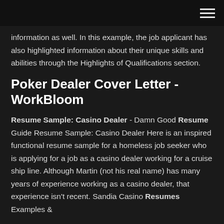information as well. In this example, the job applicant has also highlighted information about their unique skills and abilities through the Highlights of Qualifications section.
Poker Dealer Cover Letter - WorkBloom
Resume Sample: Casino Dealer - Damn Good Resume Guide Resume Sample: Casino Dealer Here is an inspired functional resume sample for a homeless job seeker who is applying for a job as a casino dealer working for a cruise ship line. Although Martin (not his real name) has many years of experience working as a casino dealer, that experience isn't recent. Sandia Casino Resumes Examples &